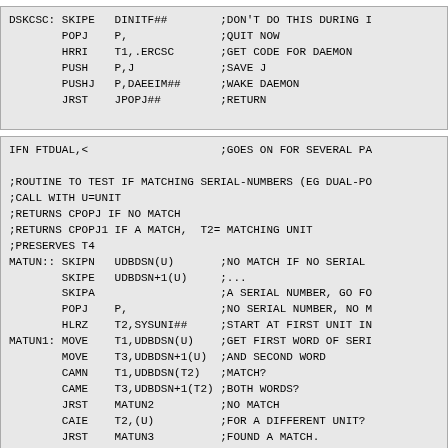DSKCSC: SKIPE   DINITF##        ;DON'T DO THIS DURING I
        POPJ    P,              ;QUIT NOW
        HRRI    T1,.ERCSC       ;GET CODE FOR DAEMON
        PUSH    P,J             ;SAVE J
        PUSHJ   P,DAEEIM##      ;WAKE DAEMON
        JRST    JPOPJ##         ;RETURN
IFN FTDUAL,<                    ;GOES ON FOR SEVERAL PA

;ROUTINE TO TEST IF MATCHING SERIAL-NUMBERS (EG DUAL-PO
;CALL WITH U=UNIT
;RETURNS CPOPJ IF NO MATCH
;RETURNS CPOPJ1 IF A MATCH,  T2= MATCHING UNIT
;PRESERVES T4
MATUN:: SKIPN   UDBDSN(U)       ;NO MATCH IF NO SERIAL
        SKIPE   UDBDSN+1(U)     ;...
        SKIPA                   ;A SERIAL NUMBER, GO FO
        POPJ    P,              ;NO SERIAL NUMBER, NO M
        HLRZ    T2,SYSUNI##     ;START AT FIRST UNIT IN
MATUN1: MOVE    T1,UDBDSN(U)    ;GET FIRST WORD OF SERI
        MOVE    T3,UDBDSN+1(U)  ;AND SECOND WORD
        CAMN    T1,UDBDSN(T2)   ;MATCH?
        CAME    T3,UDBDSN+1(T2) ;BOTH WORDS?
        JRST    MATUN2          ;NO MATCH
        CAIE    T2,(U)          ;FOR A DIFFERENT UNIT?
        JRST    MATUN3          ;FOUND A MATCH.
MATUN2: HLRZ    T2,UNISYS(T2)   ;STEP TO NEXT UNIT
        JUMPN   T2,MATUN1       ;AND TEST IT
        POPJ    P,              ;NO MATCH, NON-SKIP